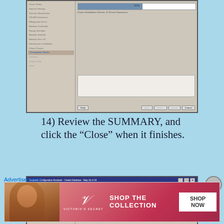[Figure (screenshot): Oracle Database Configuration Assistant installer window showing Prerequisite Checks step with progress bar at 55% and 'Cluster Installation Checks: 01 Kernel Parameters' message]
14) Review the SUMMARY, and click the “Close” when it finishes.
[Figure (screenshot): Oracle Database Configuration Assistant - Create Database - Step 16 of 16, Finish screen showing 'The generation of the script /u01/app/oracle/admin/ractest/.../script is successful. The template RACTEST creation completed.']
Advertisements
[Figure (photo): Victoria's Secret advertisement banner: SHOP THE COLLECTION with SHOP NOW button]